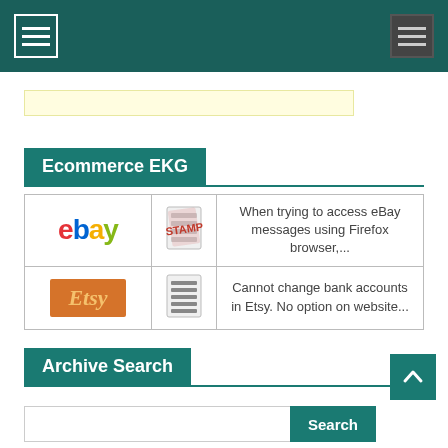Navigation header with hamburger menu icons
[Figure (screenshot): Yellow highlighted search input bar]
Ecommerce EKG
| Logo | Icon | Description |
| --- | --- | --- |
| eBay | [stamp icon] | When trying to access eBay messages using Firefox browser,... |
| Etsy | [lines icon] | Cannot change bank accounts in Etsy. No option on website... |
Archive Search
[Figure (screenshot): Search input with Search button and back-to-top arrow button]